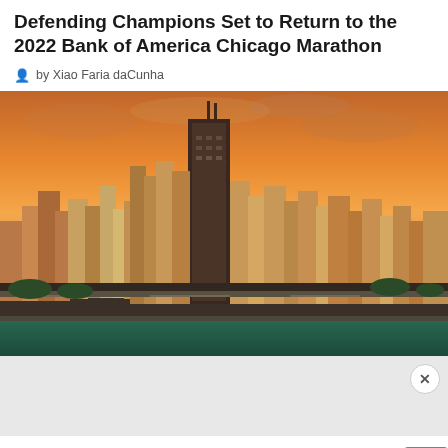Defending Champions Set to Return to the 2022 Bank of America Chicago Marathon
by Xiao Faria daCunha
[Figure (photo): Aerial view of Chicago skyline at sunset with orange sky, Lake Michigan in the foreground, and skyscrapers including a tall dark tower at center.]
5 Reasons Why Chicago Is The Second Best City In The World